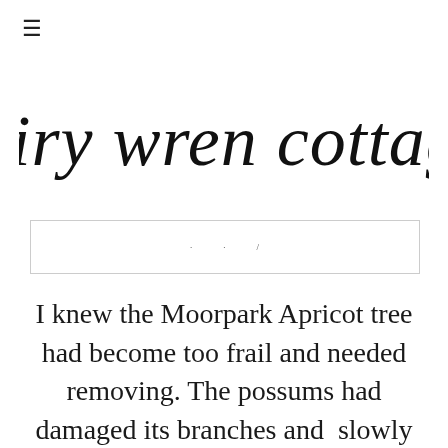≡
fairy wren cottage
[Figure (other): Navigation bar with light border containing small navigation link dots/text]
I knew the Moorpark Apricot tree had become too frail and needed removing. The possums had damaged its branches and slowly but surely the tree was dying,